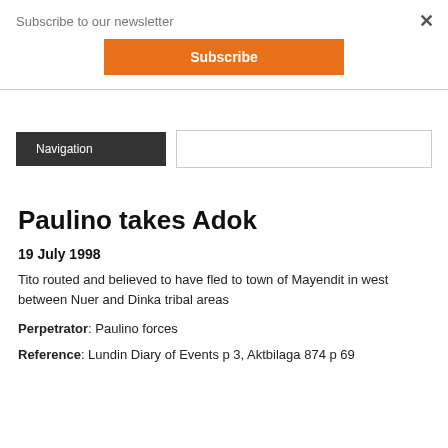Subscribe to our newsletter
Subscribe
×
Navigation
Paulino takes Adok
19 July  1998
Tito routed and believed to have fled to town of Mayendit in west between Nuer and Dinka tribal areas
Perpetrator: Paulino forces
Reference: Lundin Diary of Events p 3, Aktbilaga 874 p 69